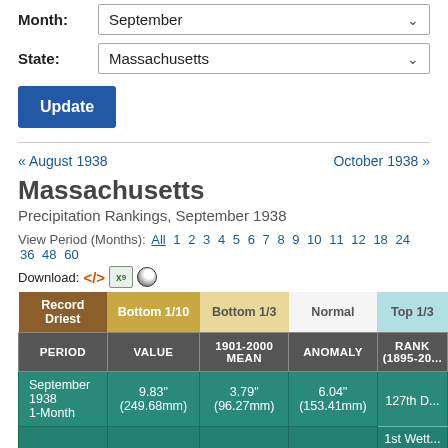Month: September
State: Massachusetts
Update
« August 1938   October 1938 »
Massachusetts
Precipitation Rankings, September 1938
View Period (Months): All 1 2 3 4 5 6 7 8 9 10 11 12 18 24 36 48 60
Download:
| PERIOD | VALUE | 1901-2000 MEAN | ANOMALY | RANK (1895-20...) |
| --- | --- | --- | --- | --- |
| September 1938 1-Month | 9.83" (249.68mm) | 3.79" (96.27mm) | 6.04" (153.41mm) | 127th D... / 1st Wett... |